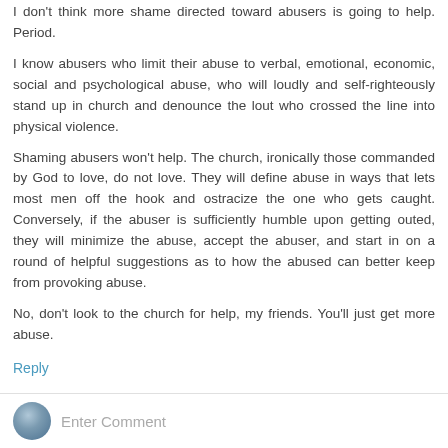I don't think more shame directed toward abusers is going to help. Period.
I know abusers who limit their abuse to verbal, emotional, economic, social and psychological abuse, who will loudly and self-righteously stand up in church and denounce the lout who crossed the line into physical violence.
Shaming abusers won't help. The church, ironically those commanded by God to love, do not love. They will define abuse in ways that lets most men off the hook and ostracize the one who gets caught. Conversely, if the abuser is sufficiently humble upon getting outed, they will minimize the abuse, accept the abuser, and start in on a round of helpful suggestions as to how the abused can better keep from provoking abuse.
No, don't look to the church for help, my friends. You'll just get more abuse.
Reply
Enter Comment